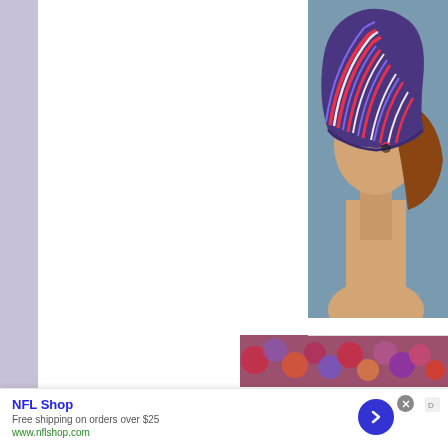[Figure (photo): Photograph of a colorful striped knitted/crocheted slouchy hat on a mannequin head, with blue, red/orange, white and purple stripes. The mannequin has brown hair. Blue-gray background.]
[Figure (photo): Thumbnail strip showing colorful yarn or knitted fabric in pink, purple, orange, and multicolor tones.]
NFL Shop
Free shipping on orders over $25
www.nflshop.com